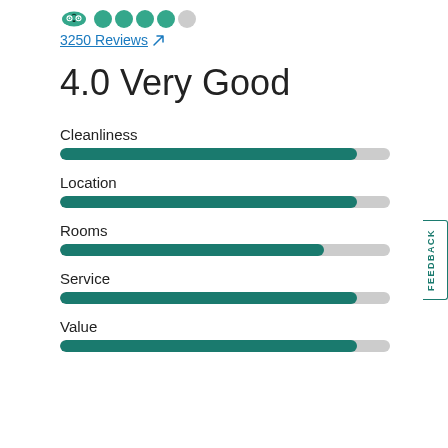[Figure (other): TripAdvisor logo with 4 filled green circles and 1 empty circle rating display]
3250 Reviews ↗
4.0 Very Good
[Figure (bar-chart): Hotel ratings by category]